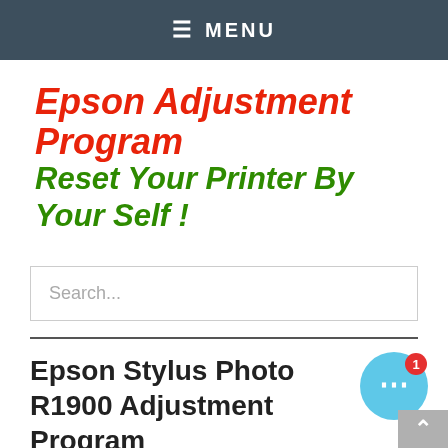≡ MENU
[Figure (logo): Epson Adjustment Program logo with two lines: 'Epson Adjustment Program' in red italic bold and 'Reset Your Printer By Your Self!' in green italic bold]
Search...
Epson Stylus Photo R1900 Adjustment Program